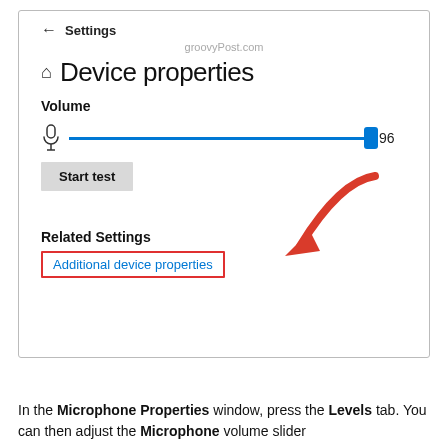[Figure (screenshot): Windows Settings - Device properties panel showing Volume slider at 96, Start test button, Related Settings section with 'Additional device properties' link highlighted with a red box and red arrow pointing to it. groovyPost.com watermark visible.]
In the Microphone Properties window, press the Levels tab. You can then adjust the Microphone volume slider